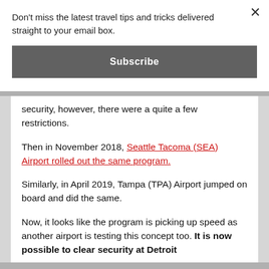Don't miss the latest travel tips and tricks delivered straight to your email box.
Subscribe
security, however, there were a quite a few restrictions.
Then in November 2018, Seattle Tacoma (SEA) Airport rolled out the same program.
Similarly, in April 2019, Tampa (TPA) Airport jumped on board and did the same.
Now, it looks like the program is picking up speed as another airport is testing this concept too. It is now possible to clear security at Detroit